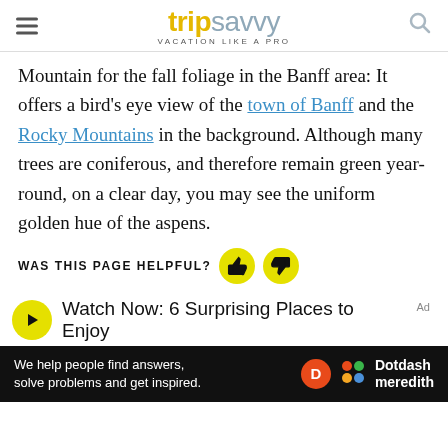trip savvy — VACATION LIKE A PRO
Mountain for the fall foliage in the Banff area: It offers a bird's eye view of the town of Banff and the Rocky Mountains in the background. Although many trees are coniferous, and therefore remain green year-round, on a clear day, you may see the uniform golden hue of the aspens.
WAS THIS PAGE HELPFUL?
Watch Now: 6 Surprising Places to Enjoy
[Figure (screenshot): Dotdash Meredith advertisement banner — 'We help people find answers, solve problems and get inspired.' with Dotdash Meredith logos]